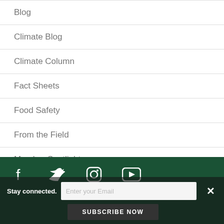Blog
Climate Blog
Climate Column
Fact Sheets
Food Safety
From the Field
Member Spotlight
News
[Figure (other): Dark green footer with social media icons (Facebook, Twitter, Instagram, YouTube) and a newsletter subscription bar with email input and SUBSCRIBE NOW button]
Stay connected.
Enter your Email
SUBSCRIBE NOW